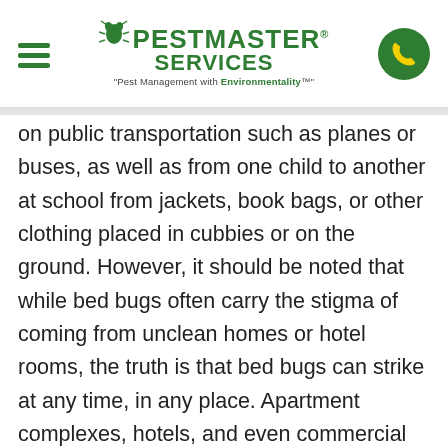[Figure (logo): Pestmaster Services logo with hamburger menu and phone button in header]
on public transportation such as planes or buses, as well as from one child to another at school from jackets, book bags, or other clothing placed in cubbies or on the ground. However, it should be noted that while bed bugs often carry the stigma of coming from unclean homes or hotel rooms, the truth is that bed bugs can strike at any time, in any place. Apartment complexes, hotels, and even commercial facilities are just as susceptible as residential homes, so prevention is a necessity no matter where you live or how clean you keep your home.